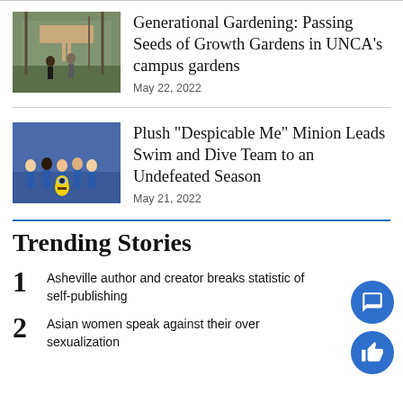[Figure (photo): Two people standing in front of a garden sign in a wooded area]
Generational Gardening: Passing Seeds of Growth Gardens in UNCA’s campus gardens
May 22, 2022
[Figure (photo): Group of people in blue shirts with a minion plush toy outdoors]
Plush “Despicable Me” Minion Leads Swim and Dive Team to an Undefeated Season
May 21, 2022
Trending Stories
1 Asheville author and creator breaks statistic of self-publishing
2 Asian women speak against their over sexualization